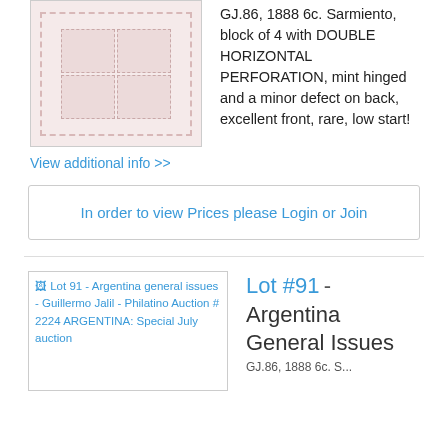[Figure (photo): Stamp block of 4 with pink/light red color, shown as a 2x2 grid with dashed borders, partial view at top of page]
GJ.86, 1888 6c. Sarmiento, block of 4 with DOUBLE HORIZONTAL PERFORATION, mint hinged and a minor defect on back, excellent front, rare, low start!
View additional info >>
In order to view Prices please Login or Join
[Figure (photo): Lot 91 - Argentina general issues - Guillermo Jalil - Philatino Auction # 2224 ARGENTINA: Special July auction (thumbnail image placeholder with broken image icon)]
Lot #91 - Argentina General Issues
GJ.86, 1888 6c. S...